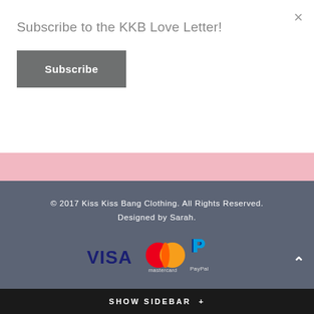Subscribe to the KKB Love Letter!
Subscribe
© 2017 Kiss Kiss Bang Clothing. All Rights Reserved. Designed by Sarah.
[Figure (logo): Payment logos: VISA, Mastercard, PayPal]
SUBSCRIBE TO OUR NEWSLETTER
* indicates required
SHOW SIDEBAR +